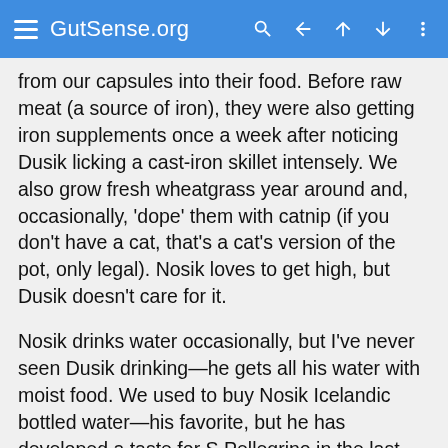GutSense.org
from our capsules into their food. Before raw meat (a source of iron), they were also getting iron supplements once a week after noticing Dusik licking a cast-iron skillet intensely. We also grow fresh wheatgrass year around and, occasionally, 'dope' them with catnip (if you don't have a cat, that's a cat's version of the pot, only legal). Nosik loves to get high, but Dusik doesn't care for it.
Nosik drinks water occasionally, but I've never seen Dusik drinking—he gets all his water with moist food. We used to buy Nosik Icelandic bottled water—his favorite, but he has developed a taste for S.Pellegrino in the last few years.
Finally, before we all go to bed, the 'kids' get a few drops of heavy cream mixed with water. That's our nightly ritual.